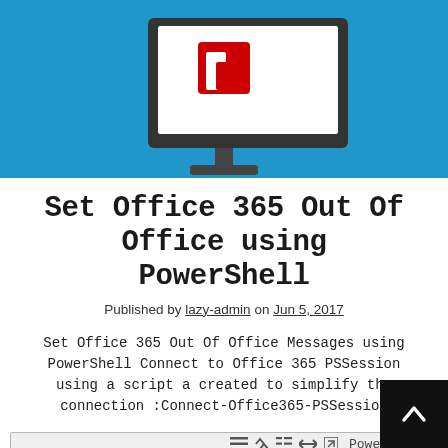[Figure (illustration): Blue banner background with a computer monitor displaying the Microsoft Office logo (red and white icon). The monitor is shown in a flat design style with a dark frame and stand.]
Set Office 365 Out Of Office using PowerShell
Published by lazy-admin on Jun 5, 2017
Set Office 365 Out Of Office Messages using PowerShell Connect to Office 365 PSSession using a script a created to simplify the connection :Connect-Office365-PSSession
[Figure (screenshot): A PowerShell code block widget with toolbar showing icons for formatting, code, list, arrows, and expand, with label 'PowerShell'. Below is a light blue code content area.]